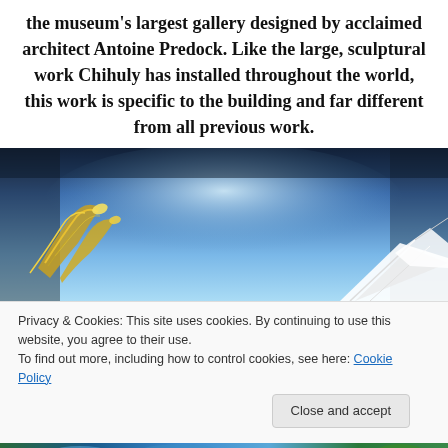the museum's largest gallery designed by acclaimed architect Antoine Predock. Like the large, sculptural work Chihuly has installed throughout the world, this work is specific to the building and far different from all previous work.
[Figure (photo): Photo of a sculptural glass art installation against a blue sky background, with yellow/orange organic glass forms on the left and white angular architectural elements on the right.]
Privacy & Cookies: This site uses cookies. By continuing to use this website, you agree to their use.
To find out more, including how to control cookies, see here: Cookie Policy
Close and accept
[Figure (photo): Bottom strip of a photo showing colorful glass art and greenery.]